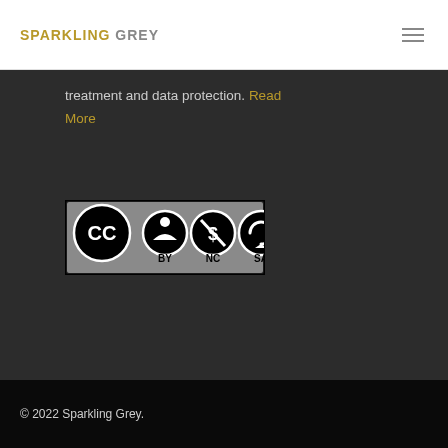SPARKLING GREY
treatment and data protection. Read More
[Figure (logo): Creative Commons BY NC SA license badge showing CC, BY, NC, and SA icons in circles on a dark background]
© 2022 Sparkling Grey.